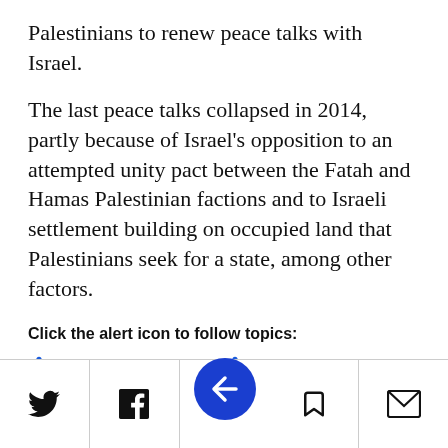Palestinians to renew peace talks with Israel.
The last peace talks collapsed in 2014, partly because of Israel's opposition to an attempted unity pact between the Fatah and Hamas Palestinian factions and to Israeli settlement building on occupied land that Palestinians seek for a state, among other factors.
Click the alert icon to follow topics:
Mahmoud Abbas
Donald Trump
United Nations
You might also Like